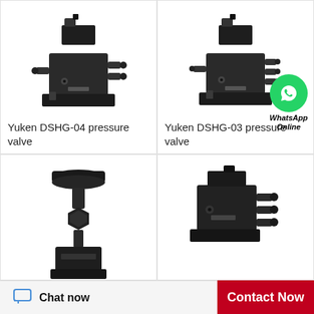[Figure (photo): Yuken DSHG-04 hydraulic pressure valve, black metal, complex fitting with solenoid on top]
Yuken DSHG-04 pressure valve
[Figure (photo): Yuken DSHG-03 hydraulic pressure valve, black metal, with WhatsApp Online chat overlay]
Yuken DSHG-03 pressure valve
[Figure (photo): Hydraulic valve component with large black knob handle at top, stem-style fitting, partially shown]
[Figure (photo): Hydraulic directional control valve, black, with solenoid connections, partially shown]
Chat now
Contact Now